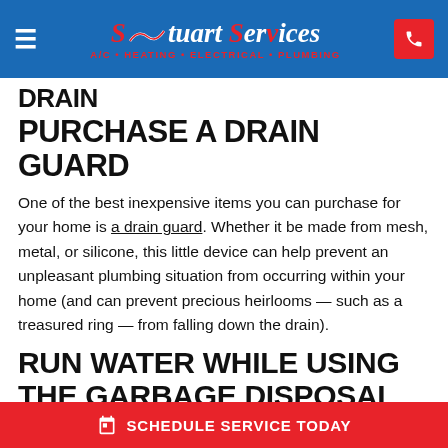Stuart Services — A/C • HEATING • ELECTRICAL • PLUMBING
DRAIN
PURCHASE A DRAIN GUARD
One of the best inexpensive items you can purchase for your home is a drain guard. Whether it be made from mesh, metal, or silicone, this little device can help prevent an unpleasant plumbing situation from occurring within your home (and can prevent precious heirlooms — such as a treasured ring — from falling down the drain).
RUN WATER WHILE USING THE GARBAGE DISPOSAL
If you have a garbage disposal, there are few important
SCHEDULE SERVICE TODAY